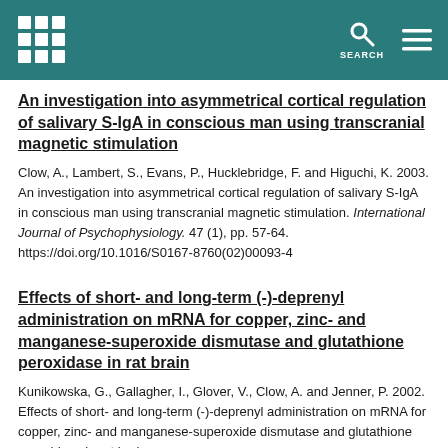University repository header with logo, search icon, and menu icon
An investigation into asymmetrical cortical regulation of salivary S-IgA in conscious man using transcranial magnetic stimulation
Clow, A., Lambert, S., Evans, P., Hucklebridge, F. and Higuchi, K. 2003. An investigation into asymmetrical cortical regulation of salivary S-IgA in conscious man using transcranial magnetic stimulation. International Journal of Psychophysiology. 47 (1), pp. 57-64. https://doi.org/10.1016/S0167-8760(02)00093-4
Effects of short- and long-term (-)-deprenyl administration on mRNA for copper, zinc- and manganese-superoxide dismutase and glutathione peroxidase in rat brain
Kunikowska, G., Gallagher, I., Glover, V., Clow, A. and Jenner, P. 2002. Effects of short- and long-term (-)-deprenyl administration on mRNA for copper, zinc- and manganese-superoxide dismutase and glutathione peroxidase in rat brain.